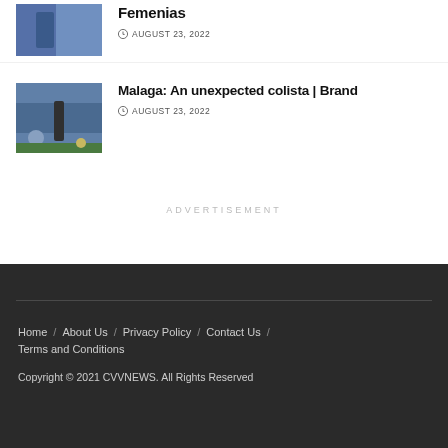[Figure (photo): Partial thumbnail of a person in blue, cropped at top of page]
Femenias
AUGUST 23, 2022
[Figure (photo): Soccer/football match photo with referee and players on field]
Malaga: An unexpected colista | Brand
AUGUST 23, 2022
ADVERTISEMENT
Home / About Us / Privacy Policy / Contact Us / Terms and Conditions
Copyright © 2021 CVVNEWS. All Rights Reserved